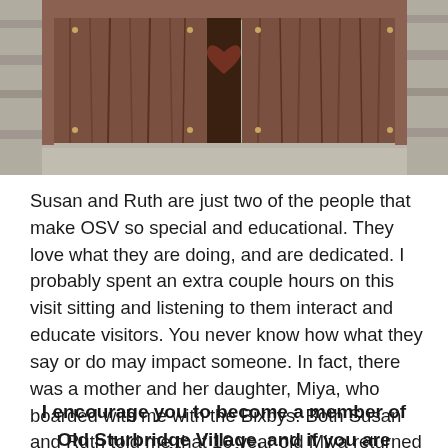[Figure (photo): Old wooden door or shuttered window set in a stone wall, photographed close-up showing weathered wood and stone texture.]
Susan and Ruth are just two of the people that make OSV so special and educational. They love what they are doing, and are dedicated. I probably spent an extra couple hours on this visit sitting and listening to them interact and educate visitors. You never know how what they say or do may impact someone. In fact, there was a mother and her daughter, Miya, who boarded with me with the Bixbys. Both Susan and Ruth told me that 16 year old Miya returned this year for a one week internship.
I encourage you to become a member of Old Sturbridge Village, and if you are looking for a